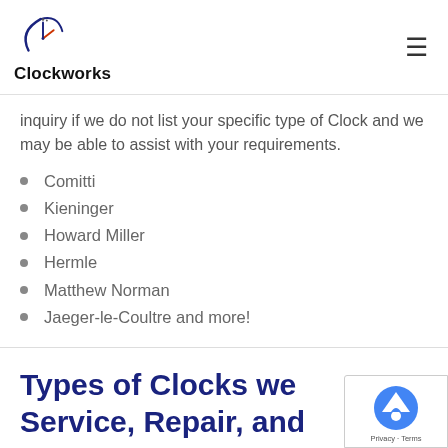Clockworks
inquiry if we do not list your specific type of Clock and we may be able to assist with your requirements.
Comitti
Kieninger
Howard Miller
Hermle
Matthew Norman
Jaeger-le-Coultre and more!
Types of Clocks we Service, Repair, and Restore in Euxton